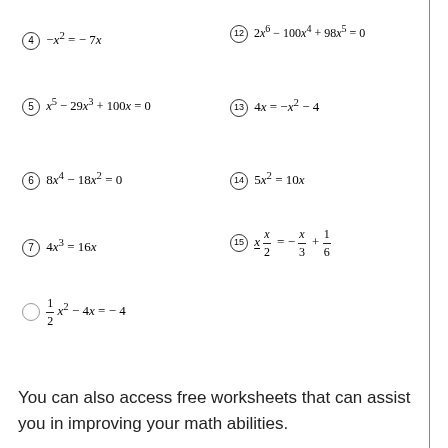You can also access free worksheets that can assist you in improving your math abilities.